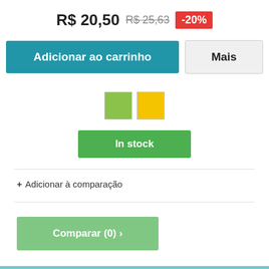R$ 20,50 R$ 25,63 -20%
Adicionar ao carrinho  Mais
[Figure (other): Two color swatches: green and yellow squares]
In stock
+ Adicionar à comparação
Comparar (0) >
Mostrando 1 - 5 de 5 itens